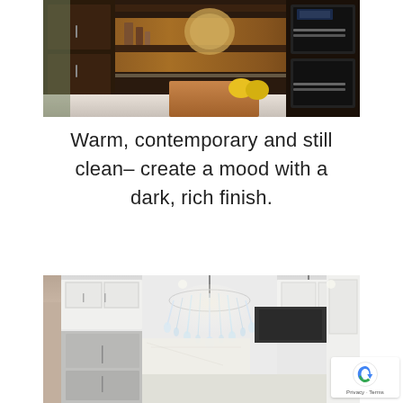[Figure (photo): Dark wood kitchen with brown cabinetry, copper backsplash, double wall oven, wooden cutting board, lemons on counter, and decorative items on open shelving.]
Warm, contemporary and still clean– create a mood with a dark, rich finish.
[Figure (photo): Bright white kitchen with ornate white cabinetry, large crystal chandelier, pendant light, stainless steel appliances including refrigerator, dark range hood, and marble-style backsplash.]